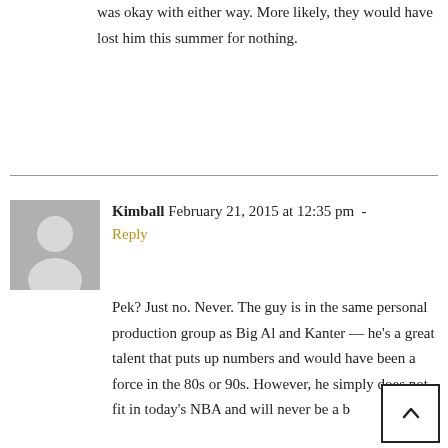was okay with either way. More likely, they would have lost him this summer for nothing.
Kimball February 21, 2015 at 12:35 pm - Reply
Pek? Just no. Never. The guy is in the same personal production group as Big Al and Kanter — he's a great talent that puts up numbers and would have been a force in the 80s or 90s. However, he simply does not fit in today's NBA and will never be a b[...]